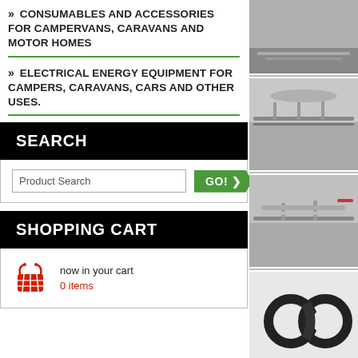>> CONSUMABLES AND ACCESSORIES FOR CAMPERVANS, CARAVANS AND MOTOR HOMES
>> ELECTRICAL ENERGY EQUIPMENT FOR CAMPERS, CARAVANS, CARS AND OTHER USES.
SEARCH
Product Search  GO!
SHOPPING CART
now in your cart
0 items
[Figure (photo): Partial view of car roof rack at top]
[Figure (photo): Car with roof rack carrying what appears to be bikes or kayaks]
[Figure (photo): Car roof with ski/bike rack attachment]
[Figure (photo): Black cable or strap accessories for roof rack]